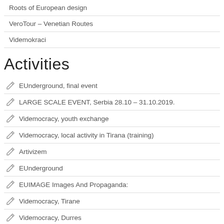Roots of European design
VeroTour – Venetian Routes
Videmokraci
Activities
EUnderground, final event
LARGE SCALE EVENT, Serbia 28.10 – 31.10.2019.
Videmocracy, youth exchange
Videmocracy, local activity in Tirana (training)
Artivizem
EUnderground
EUIMAGE Images And Propaganda:
Videmocracy, Tirane
Videmocracy, Durres